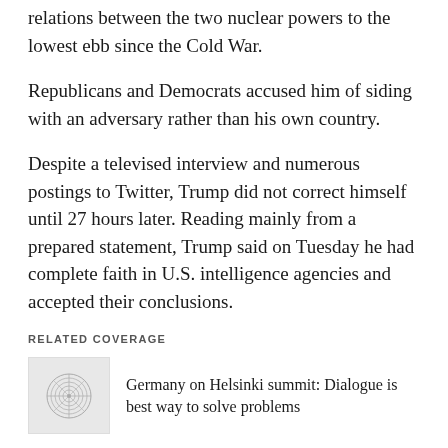relations between the two nuclear powers to the lowest ebb since the Cold War.
Republicans and Democrats accused him of siding with an adversary rather than his own country.
Despite a televised interview and numerous postings to Twitter, Trump did not correct himself until 27 hours later. Reading mainly from a prepared statement, Trump said on Tuesday he had complete faith in U.S. intelligence agencies and accepted their conclusions.
RELATED COVERAGE
Germany on Helsinki summit: Dialogue is best way to solve problems